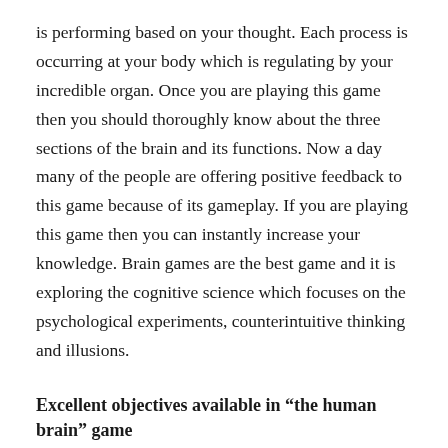is performing based on your thought. Each process is occurring at your body which is regulating by your incredible organ. Once you are playing this game then you should thoroughly know about the three sections of the brain and its functions. Now a day many of the people are offering positive feedback to this game because of its gameplay. If you are playing this game then you can instantly increase your knowledge. Brain games are the best game and it is exploring the cognitive science which focuses on the psychological experiments, counterintuitive thinking and illusions.
Excellent objectives available in “the human brain” game
The human brain is the best game in the world because it is having excellent objectives so any aged kid can play this game.